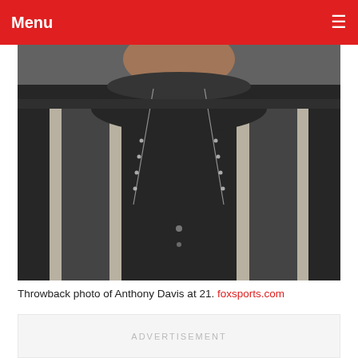Menu
[Figure (photo): Throwback photo of Anthony Davis at 21, showing torso in a black and white striped sweater with a necklace, image is cropped at neck and waist]
Throwback photo of Anthony Davis at 21. foxsports.com
ADVERTISEMENT